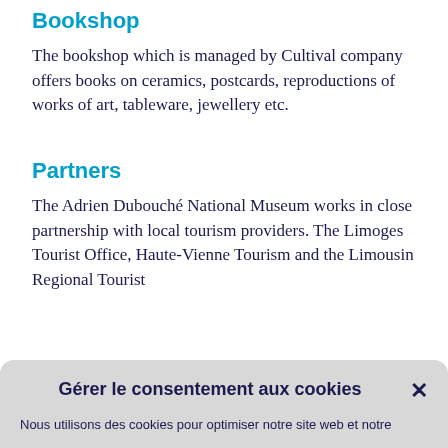Bookshop
The bookshop which is managed by Cultival company offers books on ceramics, postcards, reproductions of works of art, tableware, jewellery etc.
Partners
The Adrien Dubouché National Museum works in close partnership with local tourism providers. The Limoges Tourist Office, Haute-Vienne Tourism and the Limousin Regional Tourist
Gérer le consentement aux cookies
Nous utilisons des cookies pour optimiser notre site web et notre